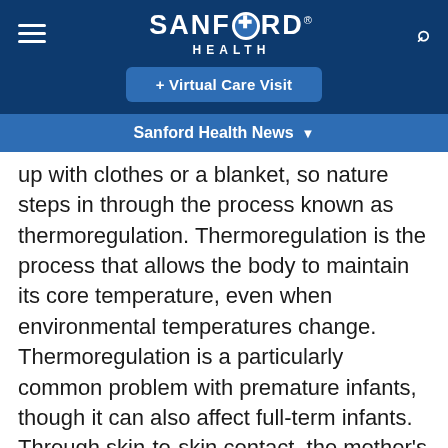SANFORD HEALTH
+ Virtual Care Visit
Sanford Health News
up with clothes or a blanket, so nature steps in through the process known as thermoregulation. Thermoregulation is the process that allows the body to maintain its core temperature, even when environmental temperatures change. Thermoregulation is a particularly common problem with premature infants, though it can also affect full-term infants. Through skin-to-skin contact, the mother's breasts automatically adjust to cool